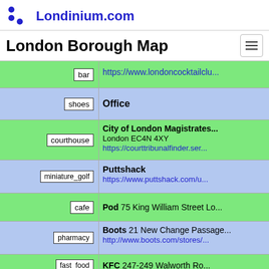Londinium.com
London Borough Map
| tag | info |
| --- | --- |
| bar | https://www.londoncocktailclu... |
| shoes | Office |
| courthouse | City of London Magistrates...
London EC4N 4XY
https://courttribunalfinder.ser... |
| miniature_golf | Puttshack
https://www.puttshack.com/u... |
| cafe | Pod 75 King William Street Lo... |
| pharmacy | Boots 21 New Change Passage...
http://www.boots.com/stores/... |
| fast_food | KFC 247-249 Walworth Ro... |